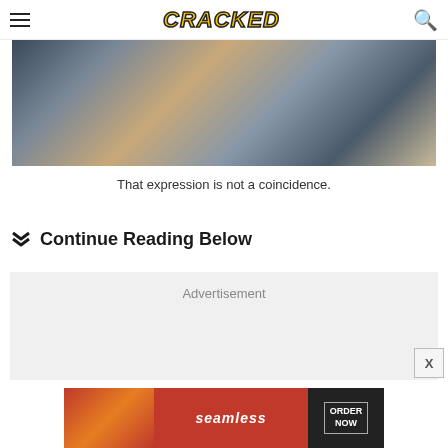CRACKED
[Figure (photo): Close-up photograph of people in dark jackets, partial upper body view with blurred background]
That expression is not a coincidence.
Continue Reading Below
[Figure (other): Advertisement placeholder box with grey background]
[Figure (other): Seamless food delivery advertisement banner showing pizza with ORDER NOW button]